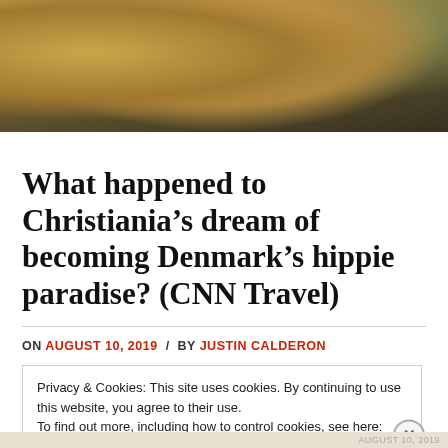[Figure (photo): Outdoor photo showing large woven/wooden drum-shaped objects on a gravel surface with greenery in background]
What happened to Christiania’s dream of becoming Denmark’s hippie paradise? (CNN Travel)
ON AUGUST 10, 2019 / BY JUSTIN CALDERON
Privacy & Cookies: This site uses cookies. By continuing to use this website, you agree to their use.
To find out more, including how to control cookies, see here: Cookie Policy
Close and accept